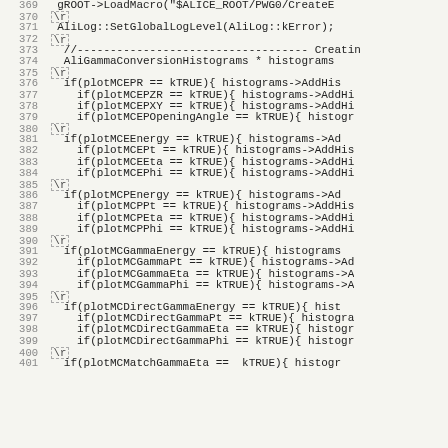Source code listing lines 369–401, C++ code with AliRoot/ALICE physics analysis framework
369   gROOT->LoadMacro("$ALICE_ROOT/PWG0/CreateE
370   \r
371     AliLog::SetGlobalLogLevel(AliLog::kError);
372   \r
373     //----------------------------------- Creatin
374     AliGammaConversionHistograms * histograms
375   \r
376     if(plotMCEPR == kTRUE){ histograms->AddHis
377       if(plotMCEPZR == kTRUE){ histograms->AddHi
378       if(plotMCEPXY == kTRUE){ histograms->AddHi
379       if(plotMCEPOpeningAngle == kTRUE){ histogr
380   \r
381     if(plotMCEEnergy == kTRUE){ histograms->Ad
382       if(plotMCEPt == kTRUE){ histograms->AddHis
383       if(plotMCEEta == kTRUE){ histograms->AddHi
384       if(plotMCEPhi == kTRUE){ histograms->AddHi
385   \r
386     if(plotMCPEnergy == kTRUE){ histograms->Ad
387       if(plotMCPPt == kTRUE){ histograms->AddHis
388       if(plotMCPEta == kTRUE){ histograms->AddHi
389       if(plotMCPPhi == kTRUE){ histograms->AddHi
390   \r
391     if(plotMCGammaEnergy == kTRUE){ histograms
392       if(plotMCGammaPt == kTRUE){ histograms->Ad
393       if(plotMCGammaEta == kTRUE){ histograms->A
394       if(plotMCGammaPhi == kTRUE){ histograms->A
395   \r
396     if(plotMCDirectGammaEnergy == kTRUE){ hist
397       if(plotMCDirectGammaPt == kTRUE){ histogra
398       if(plotMCDirectGammaEta == kTRUE){ histogr
399       if(plotMCDirectGammaPhi == kTRUE){ histogr
400   \r
401     if(plotMCMatchGammaEta == kTRUE){ histogr